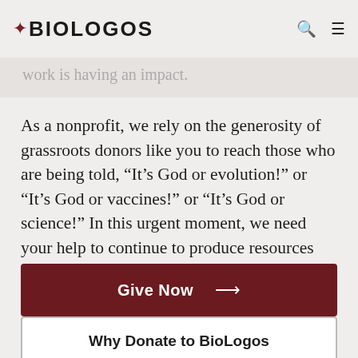BioLogos
work is having an impact.
As a nonprofit, we rely on the generosity of grassroots donors like you to reach those who are being told, “It’s God or evolution!” or “It’s God or vaccines!” or “It’s God or science!” In this urgent moment, we need your help to continue to produce resources such as this.
Give Now →
Why Donate to BioLogos